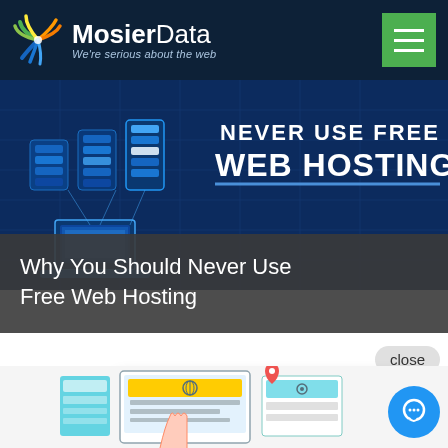[Figure (logo): MosierData logo with colorful signal/wave icon and text 'MosierData - We're serious about the web' on dark navy header bar with green hamburger menu button]
[Figure (illustration): Blue tech illustration showing server racks and laptop on blue background with text 'NEVER USE FREE WEB HOSTING']
Why You Should Never Use Free Web Hosting
close
[Figure (screenshot): Chat widget bubble with MosierData logo and message: Hi! Text us here if you would like.]
[Figure (illustration): Web design illustration showing hands, computer screen, and web icons at bottom of page]
[Figure (other): Blue circular chat icon button in bottom right corner]